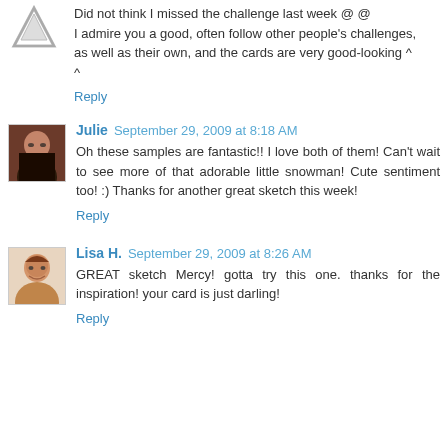[Figure (illustration): Small grey triangle/mountain icon avatar placeholder]
Did not think I missed the challenge last week @ @ I admire you a good, often follow other people's challenges, as well as their own, and the cards are very good-looking ^ ^
Reply
[Figure (photo): Profile photo of Julie, a woman with glasses and dark clothing]
Julie  September 29, 2009 at 8:18 AM
Oh these samples are fantastic!! I love both of them! Can't wait to see more of that adorable little snowman! Cute sentiment too! :) Thanks for another great sketch this week!
Reply
[Figure (photo): Profile photo of Lisa H., a woman with brown hair]
Lisa H.  September 29, 2009 at 8:26 AM
GREAT sketch Mercy! gotta try this one. thanks for the inspiration! your card is just darling!
Reply